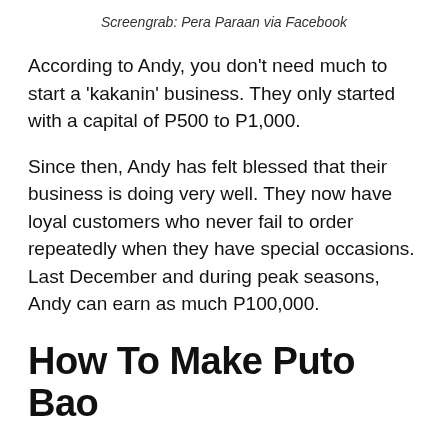Screengrab: Pera Paraan via Facebook
According to Andy, you don't need much to start a 'kakanin' business. They only started with a capital of P500 to P1,000.
Since then, Andy has felt blessed that their business is doing very well. They now have loyal customers who never fail to order repeatedly when they have special occasions. Last December and during peak seasons, Andy can earn as much P100,000.
How To Make Puto Bao